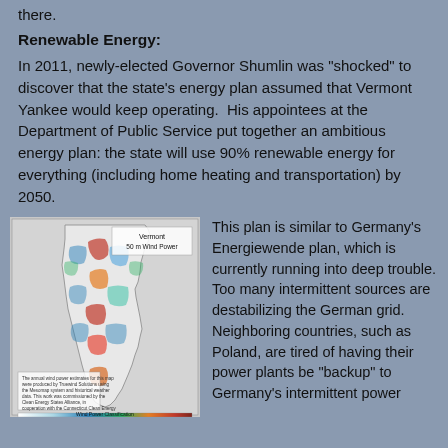there.
Renewable Energy:
In 2011, newly-elected Governor Shumlin was "shocked" to discover that the state's energy plan assumed that Vermont Yankee would keep operating.  His appointees at the Department of Public Service put together an ambitious energy plan: the state will use 90% renewable energy for everything (including home heating and transportation) by 2050.
[Figure (map): Vermont 50 m Wind Power map showing wind power resource areas across the state of Vermont, with color-coded wind speed classifications. Map includes a legend and attribution text.]
This plan is similar to Germany's Energiewende plan, which is currently running into deep trouble. Too many intermittent sources are destabilizing the German grid. Neighboring countries, such as Poland, are tired of having their power plants be "backup" to Germany's intermittent power